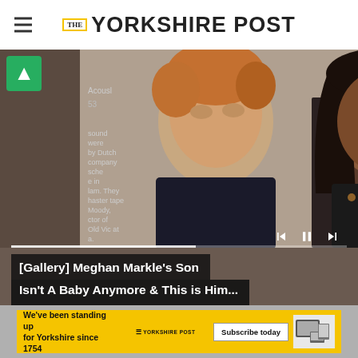THE YORKSHIRE POST
[Figure (photo): Photo of Prince Harry and Meghan Markle at what appears to be a museum or exhibition venue, with text displays visible in the background. A green icon overlay is visible in the top-left corner. Video playback controls appear in the lower right area of the image.]
[Gallery] Meghan Markle's Son Isn't A Baby Anymore & This is Him...
[Figure (infographic): The Yorkshire Post advertisement banner with yellow background. Text reads: We've been standing up for Yorkshire since 1754. Subscribe today. Yorkshire Post logo and device images shown.]